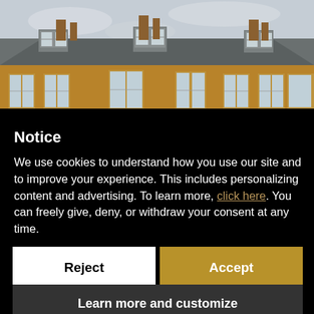[Figure (photo): Photograph of a large brick Georgian-style building with dormer windows, multiple chimneys, and a grey sky background.]
Notice
We use cookies to understand how you use our site and to improve your experience. This includes personalizing content and advertising. To learn more, click here. You can freely give, deny, or withdraw your consent at any time.
Reject
Accept
Learn more and customize